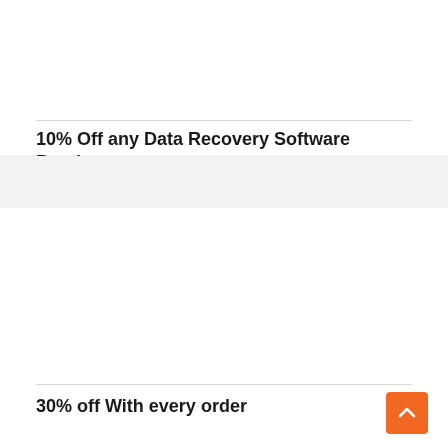10% Off any Data Recovery Software Purchase
30% off With every order